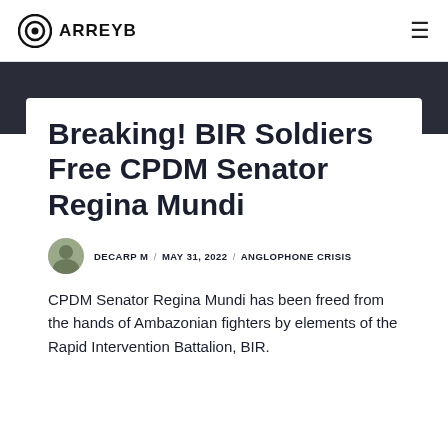ARREYB
Breaking! BIR Soldiers Free CPDM Senator Regina Mundi
DECARP M / MAY 31, 2022 / ANGLOPHONE CRISIS
CPDM Senator Regina Mundi has been freed from the hands of Ambazonian fighters by elements of the Rapid Intervention Battalion, BIR.